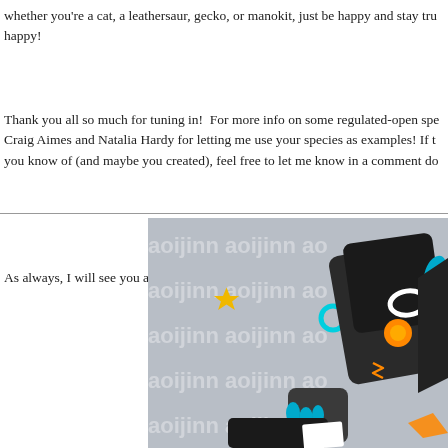whether you're a cat, a leathersaur, gecko, or manokit, just be happy and stay true, be happy!
Thank you all so much for tuning in!  For more info on some regulated-open species, Craig Aimes and Natalia Hardy for letting me use your species as examples! If there you know of (and maybe you created), feel free to let me know in a comment do
As always, I will see you all in the next one!
[Figure (illustration): Digital illustration of a robotic/mecha character (manokit) with a dark angular body, glowing orange eye, blue accents, and clawed hands, set against a grey watermarked background with 'aoijinn' repeated text and small star/circle decorative elements.]